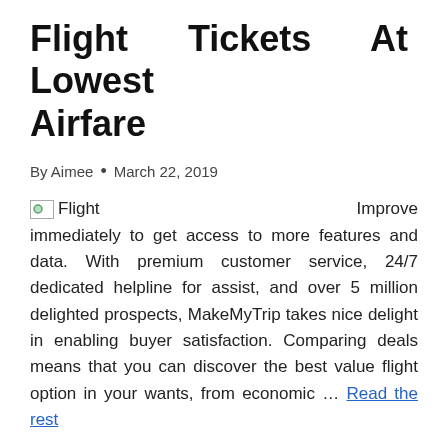Flight Tickets At Lowest Airfare
By Aimee • March 22, 2019
Improve immediately to get access to more features and data. With premium customer service, 24/7 dedicated helpline for assist, and over 5 million delighted prospects, MakeMyTrip takes nice delight in enabling buyer satisfaction. Comparing deals means that you can discover the best value flight option in your wants, from economic … Read the rest
READ MORE →